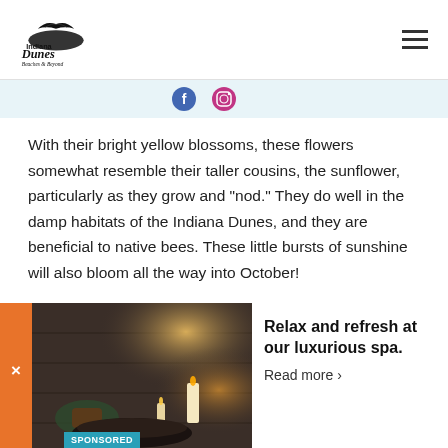Indiana Dunes Beaches & Beyond
[Figure (logo): Indiana Dunes Beaches & Beyond logo with bird/dune graphic]
[Figure (infographic): Social media icons bar (partially visible at top)]
With their bright yellow blossoms, these flowers somewhat resemble their taller cousins, the sunflower, particularly as they grow and “nod.” They do well in the damp habitats of the Indiana Dunes, and they are beneficial to native bees. These little bursts of sunshine will also bloom all the way into October!
Reference the Quest Map to help guide you to this
[Figure (photo): Advertisement photo showing a cozy spa/patio setting with candles and plants]
Relax and refresh at our luxurious spa.
Read more ›